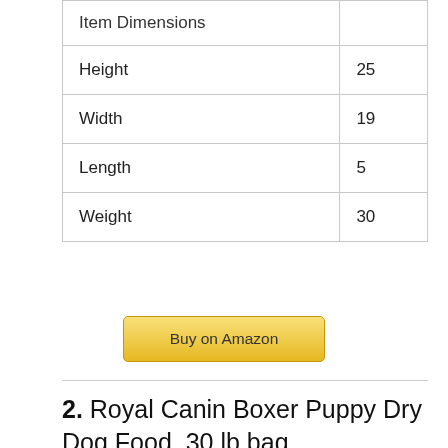| Item Dimensions |  |
| --- | --- |
| Height | 25 |
| Width | 19 |
| Length | 5 |
| Weight | 30 |
[Figure (other): Buy on Amazon button — a rounded yellow-gradient rectangle with the text 'Buy on Amazon']
2. Royal Canin Boxer Puppy Dry Dog Food, 30 lb bag